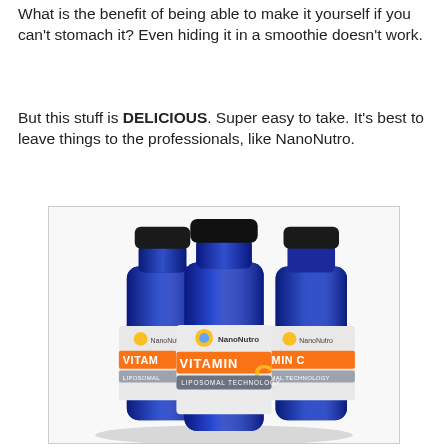What is the benefit of being able to make it yourself if you can't stomach it? Even hiding it in a smoothie doesn't work.
But this stuff is DELICIOUS. Super easy to take. It's best to leave things to the professionals, like NanoNutro.
[Figure (photo): Three blue glass bottles of NanoNutro Vitamin C Liposomal Technology supplement, displayed in a triangular arrangement with white labels showing the brand logo and product name.]